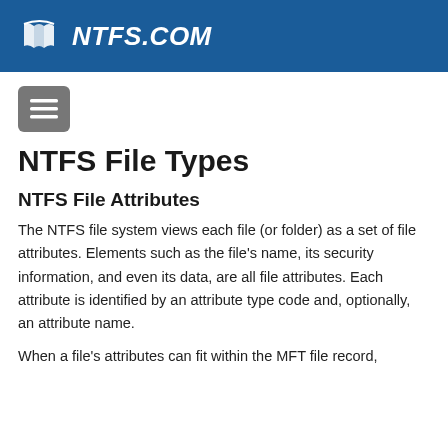NTFS.COM
NTFS File Types
NTFS File Attributes
The NTFS file system views each file (or folder) as a set of file attributes. Elements such as the file's name, its security information, and even its data, are all file attributes. Each attribute is identified by an attribute type code and, optionally, an attribute name.
When a file's attributes can fit within the MFT file record,